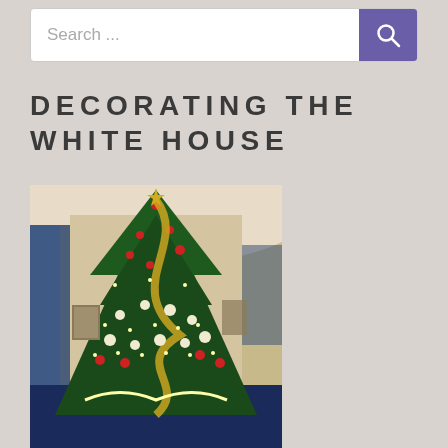Search ...
DECORATING THE WHITE HOUSE
[Figure (photo): A large decorated Christmas tree in the White House Blue Room, adorned with red and white ornaments, gold ribbons, poinsettias, and lights. The room features blue drapes and ornate furnishings.]